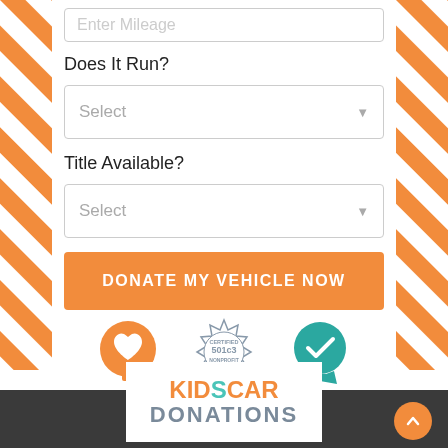Enter Mileage
Does It Run?
Select
Title Available?
Select
DONATE MY VEHICLE NOW
[Figure (logo): Three trust badge icons: orange heart in speech bubble, certified 501c3 nonprofit seal, teal circle with checkmark and ribbon]
[Figure (logo): KidsCar Donations logo in white box — KIDS in orange/teal, CAR in orange, DONATIONS in grey-blue, on dark footer bar]